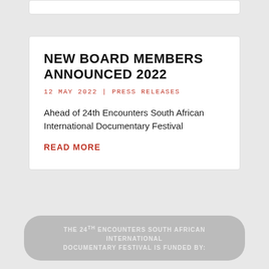NEW BOARD MEMBERS ANNOUNCED 2022
12 MAY 2022 | PRESS RELEASES
Ahead of 24th Encounters South African International Documentary Festival
READ MORE
THE 24TH ENCOUNTERS SOUTH AFRICAN INTERNATIONAL DOCUMENTARY FESTIVAL IS FUNDED BY: